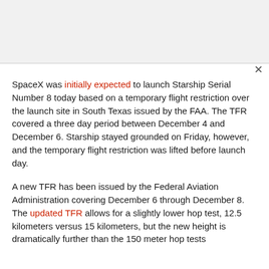SpaceX was initially expected to launch Starship Serial Number 8 today based on a temporary flight restriction over the launch site in South Texas issued by the FAA. The TFR covered a three day period between December 4 and December 6. Starship stayed grounded on Friday, however, and the temporary flight restriction was lifted before launch day.
A new TFR has been issued by the Federal Aviation Administration covering December 6 through December 8. The updated TFR allows for a slightly lower hop test, 12.5 kilometers versus 15 kilometers, but the new height is dramatically further than the 150 meter hop tests